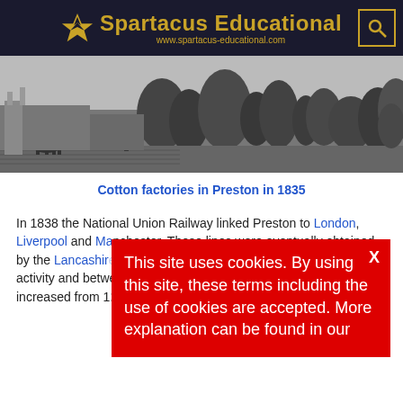Spartacus Educational — www.spartacus-educational.com
[Figure (photo): Black and white landscape photograph showing cotton factories in Preston in 1835 with vegetation, workers, and cattle in the foreground]
Cotton factories in Preston in 1835
In 1838 the National Union Railway linked Preston to London, Liverpool and Manchester. These lines were eventually obtained by the Lancashire & Yorkshire Railway. This increased economic activity and betwe... the population of Preston increased from 1...
This site uses cookies. By using this site, these terms including the use of cookies are accepted. More explanation can be found in our